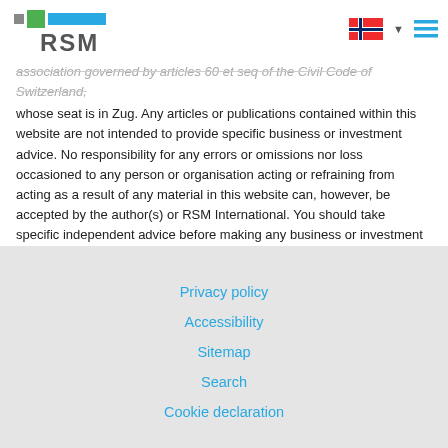RSM logo and navigation
association governed by articles 60 et seq of the Civil Code of Switzerland, whose seat is in Zug. Any articles or publications contained within this website are not intended to provide specific business or investment advice. No responsibility for any errors or omissions nor loss occasioned to any person or organisation acting or refraining from acting as a result of any material in this website can, however, be accepted by the author(s) or RSM International. You should take specific independent advice before making any business or investment decision.
Privacy policy | Accessibility | Sitemap | Search | Cookie declaration